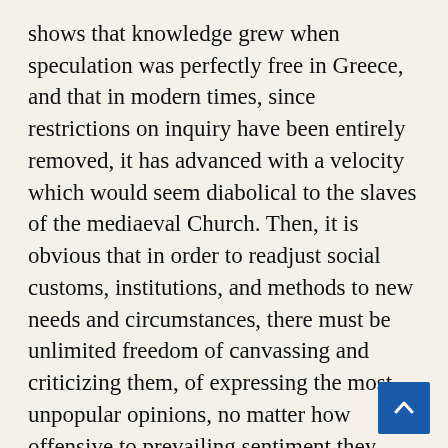shows that knowledge grew when speculation was perfectly free in Greece, and that in modern times, since restrictions on inquiry have been entirely removed, it has advanced with a velocity which would seem diabolical to the slaves of the mediaeval Church. Then, it is obvious that in order to readjust social customs, institutions, and methods to new needs and circumstances, there must be unlimited freedom of canvassing and criticizing them, of expressing the most unpopular opinions, no matter how offensive to prevailing sentiment they may be. If the history of civilization has any lesson to teach it is this: there is one supreme condition of mental and moral progress which it is completely within the power of man himself to secure, and that is perfect liberty of